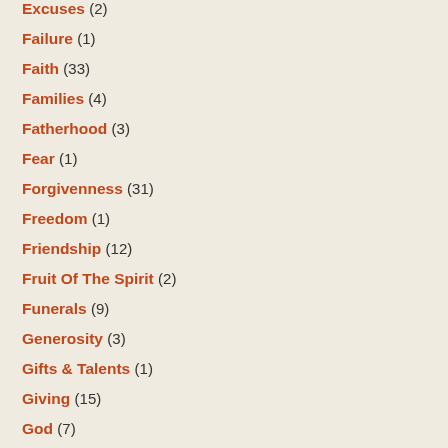Excuses (2)
Failure (1)
Faith (33)
Families (4)
Fatherhood (3)
Fear (1)
Forgivenness (31)
Freedom (1)
Friendship (12)
Fruit Of The Spirit (2)
Funerals (9)
Generosity (3)
Gifts & Talents (1)
Giving (15)
God (7)